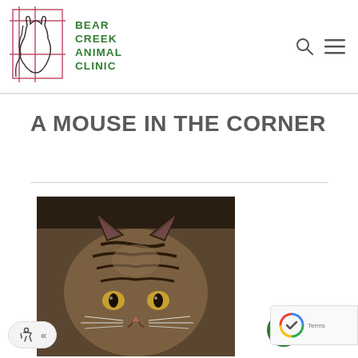[Figure (logo): Bear Creek Animal Clinic logo: outline drawing of a cat and dog inside a crosshatch square frame, with text 'BEAR CREEK ANIMAL CLINIC' in green to the right]
A MOUSE IN THE CORNER
[Figure (photo): Close-up photo of a striped tabby cat looking toward the camera, photographed in a dimly lit corner]